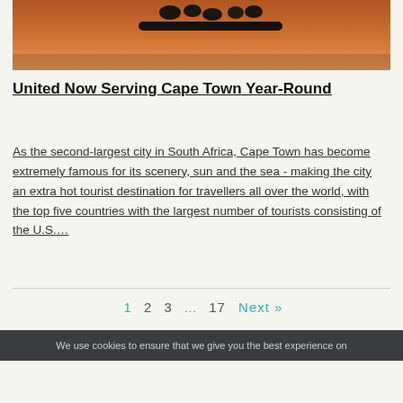[Figure (photo): Partial photo with orange/brown background and dark rounded shapes at top, appears to be an airplane or travel-related image]
United Now Serving Cape Town Year-Round
As the second-largest city in South Africa, Cape Town has become extremely famous for its scenery, sun and the sea - making the city an extra hot tourist destination for travellers all over the world, with the top five countries with the largest number of tourists consisting of the U.S....
1  2  3  ...  17  Next »
We use cookies to ensure that we give you the best experience on